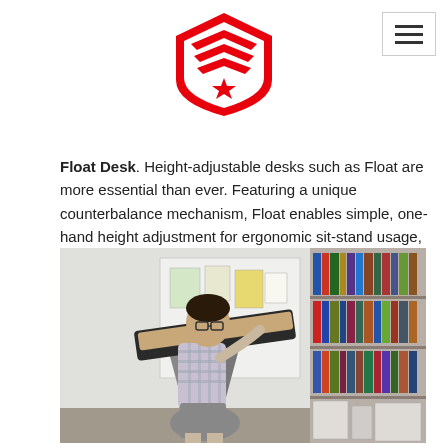[Figure (logo): Red shield logo with chevron stripes and star, site navigation logo]
[Figure (other): Hamburger menu icon (three horizontal lines) in a bordered box, top right corner]
Float Desk. Height-adjustable desks such as Float are more essential than ever. Featuring a unique counterbalance mechanism, Float enables simple, one-hand height adjustment for ergonomic sit-stand usage, without an obstructive crossbeam, a cumbersome crank or electricity. $645 | BUY
[Figure (photo): Photo of a young man wearing glasses and a plaid short-sleeve shirt, leaning over a height-adjustable standing desk. The desk has a dark tilted work surface on a metallic X-frame stand. In the background is a whiteboard with papers and a bookshelf filled with books.]